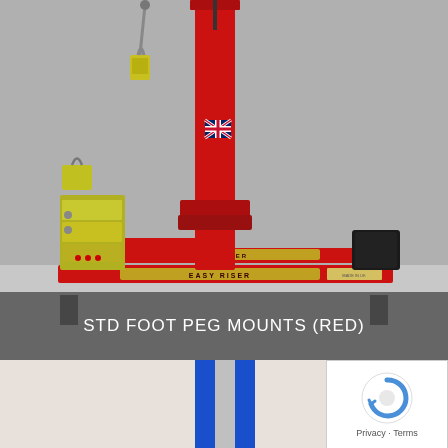[Figure (photo): A red motorcycle paddock/lift stand with 'Easy Riser' branding, showing standard foot peg mount attachments. The stand has a vertical column with a Union Jack (British flag) sticker, horizontal base arms, a side arm mechanism with clamps and locks, and a black rubber block on the right arm. Background is grey.]
STD FOOT PEG MOUNTS (RED)
[Figure (photo): Partial view of another product (bottom of page), showing a light-coloured background with a blue vertical element visible in the center.]